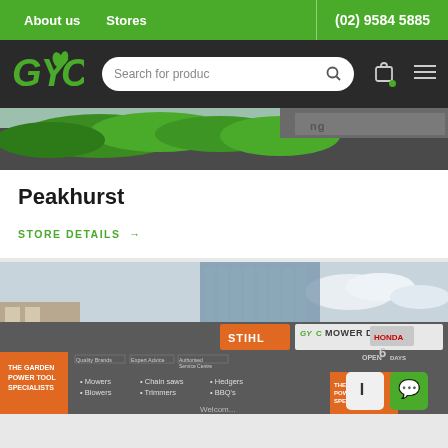About us | Stores | (02) 9584 5885
[Figure (logo): GYC logo with green leaf in dark header, search bar and icons]
[Figure (photo): Top portion of Peakhurst store exterior showing green hedge and dark building]
Peakhurst
STORE DETAILS →
[Figure (photo): GYC Mower Depot store exterior with STIHL and Honda branding, orange signage listing Mowers, Blowers, Chain saws, Trimmers, Hedgers, BBQs]